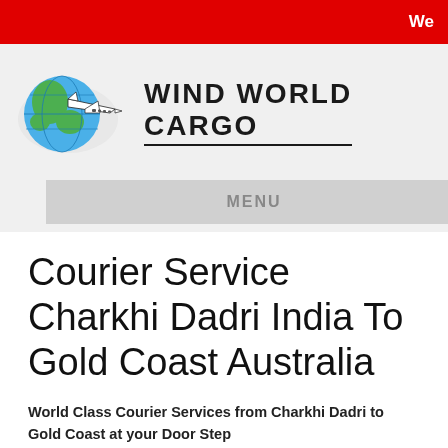We
[Figure (logo): Wind World Cargo logo: globe with airplane and text WIND WORLD CARGO]
MENU
Courier Service Charkhi Dadri India To Gold Coast Australia
World Class Courier Services from Charkhi Dadri to Gold Coast at your Door Step
Gold Coast is one of the most beautiful countries in the world. If